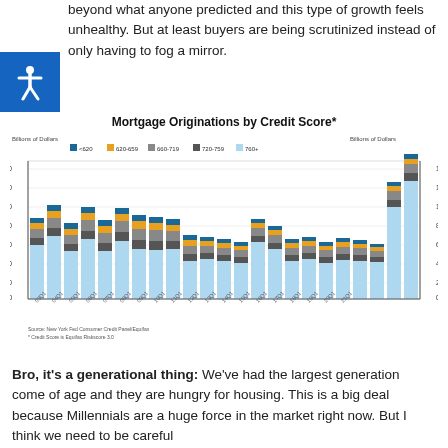beyond what anyone predicted and this type of growth feels unhealthy. But at least buyers are being scrutinized instead of only having to fog a mirror.
[Figure (stacked-bar-chart): Stacked bar chart showing mortgage originations by credit score from 2003 Q1 to 2021 Q1, with 760+ dominating recent quarters and peaking around 1,200 billion dollars in 21Q1.]
Bro, it's a generational thing: We've had the largest generation come of age and they are hungry for housing. This is a big deal because Millennials are a huge force in the market right now. But I think we need to be careful